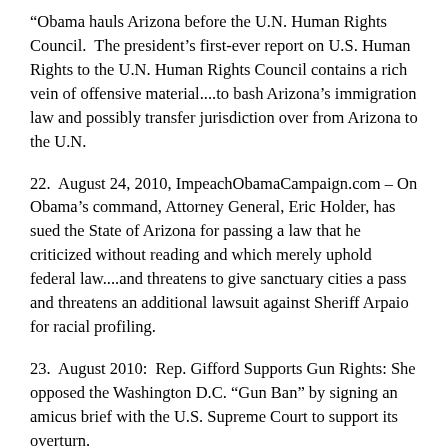“Obama hauls Arizona before the U.N. Human Rights Council. The president’s first-ever report on U.S. Human Rights to the U.N. Human Rights Council contains a rich vein of offensive material....to bash Arizona’s immigration law and possibly transfer jurisdiction over from Arizona to the U.N.
22. August 24, 2010, ImpeachObamaCampaign.com – On Obama’s command, Attorney General, Eric Holder, has sued the State of Arizona for passing a law that he criticized without reading and which merely uphold federal law....and threatens to give sanctuary cities a pass and threatens an additional lawsuit against Sheriff Arpaio for racial profiling.
23. August 2010: Rep. Gifford Supports Gun Rights: She opposed the Washington D.C. “Gun Ban” by signing an amicus brief with the U.S. Supreme Court to support its overturn.